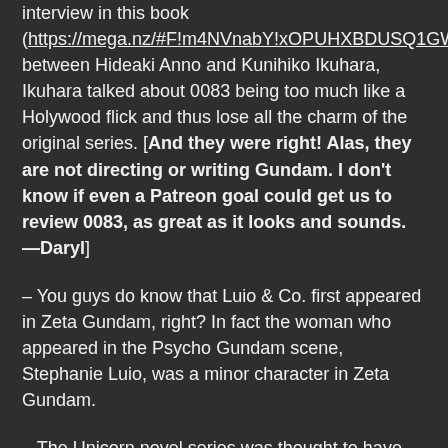interview in this book (https://mega.nz/#F!m4NVnabY!xOPUHXBDUSQ1GWzy_yAhcQ) between Hideaki Anno and Kunihiko Ikuhara, Ikuhara talked about 0083 being too much like a Holywood flick and thus lose all the charm of the original series. [And they were right! Alas, they are not directing or writing Gundam. I don't know if even a Patreon goal could get us to review 0083, as great as it looks and sounds. —Daryl]
– You guys do know that Luio & Co. first appeared in Zeta Gundam, right? In fact the woman who appeared in the Psycho Gundam scene, Stephanie Luio, was a minor character in Zeta Gundam.
– The Unicorn novel series was thought to have ended at Volume 10 released in 2009 before Fukui released Volume 11, which NT was based